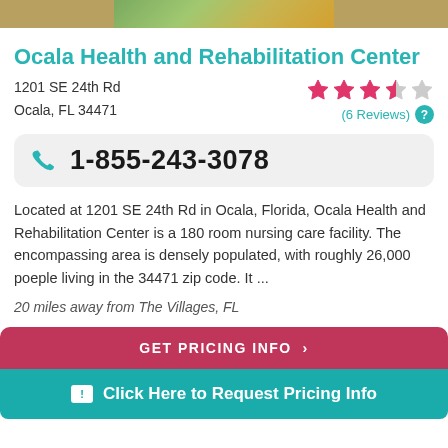[Figure (photo): Partial photo strip at top of page showing a green/natural outdoor scene]
Ocala Health and Rehabilitation Center
1201 SE 24th Rd
Ocala, FL 34471
[Figure (other): Star rating showing 3.5 out of 5 stars with (6 Reviews) label and question mark icon]
1-855-243-3078
Located at 1201 SE 24th Rd in Ocala, Florida, Ocala Health and Rehabilitation Center is a 180 room nursing care facility. The encompassing area is densely populated, with roughly 26,000 poeple living in the 34471 zip code. It ...
20 miles away from The Villages, FL
GET PRICING INFO >
Click Here to Request Pricing Info